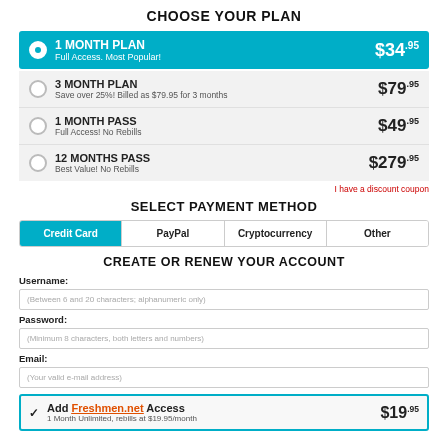CHOOSE YOUR PLAN
1 MONTH PLAN - Full Access. Most Popular! - $34.95
3 MONTH PLAN - Save over 25%! Billed as $79.95 for 3 months - $79.95
1 MONTH PASS - Full Access! No Rebills - $49.95
12 MONTHS PASS - Best Value! No Rebills - $279.95
I have a discount coupon
SELECT PAYMENT METHOD
Credit Card | PayPal | Cryptocurrency | Other
CREATE OR RENEW YOUR ACCOUNT
Username:
(Between 6 and 20 characters; alphanumeric only)
Password:
(Minimum 8 characters, both letters and numbers)
Email:
(Your valid e-mail address)
Add Freshmen.net Access - 1 Month Unlimited, rebills at $19.95/month - $19.95